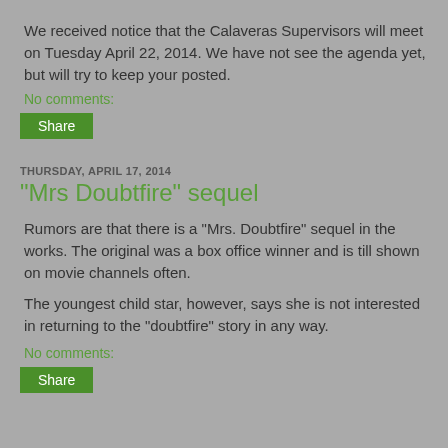We received notice that the Calaveras Supervisors will meet on Tuesday April 22, 2014. We have not see the agenda yet, but will try to keep your posted.
No comments:
Share
THURSDAY, APRIL 17, 2014
"Mrs Doubtfire" sequel
Rumors are that there is a "Mrs. Doubtfire" sequel in the works. The original was a box office winner and is till shown on movie channels often.
The youngest child star, however, says she is not interested in returning to the "doubtfire" story in any way.
No comments:
Share